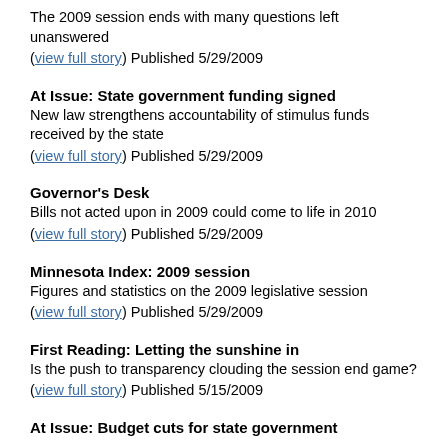The 2009 session ends with many questions left unanswered (view full story) Published 5/29/2009
At Issue: State government funding signed
New law strengthens accountability of stimulus funds received by the state (view full story) Published 5/29/2009
Governor's Desk
Bills not acted upon in 2009 could come to life in 2010 (view full story) Published 5/29/2009
Minnesota Index: 2009 session
Figures and statistics on the 2009 legislative session (view full story) Published 5/29/2009
First Reading: Letting the sunshine in
Is the push to transparency clouding the session end game? (view full story) Published 5/15/2009
At Issue: Budget cuts for state government